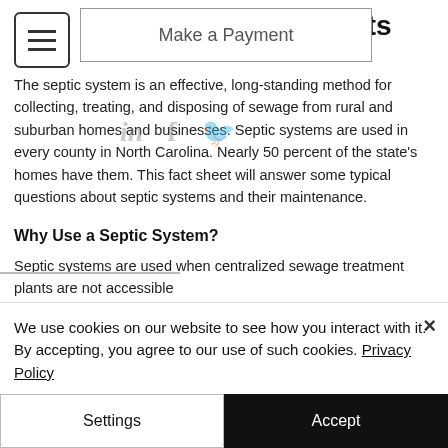Maintenance Soil Facts
[Figure (screenshot): Make a Payment modal overlay on top of title area]
The septic system is an effective, long-standing method for collecting, treating, and disposing of sewage from rural and suburban homes and businesses. Septic systems are used in every county in North Carolina. Nearly 50 percent of the state's homes have them. This fact sheet will answer some typical questions about septic systems and their maintenance.
Why Use a Septic System?
Septic systems are used when centralized sewage treatment plants are not accessible
We use cookies on our website to see how you interact with it. By accepting, you agree to our use of such cookies. Privacy Policy
Settings
Accept